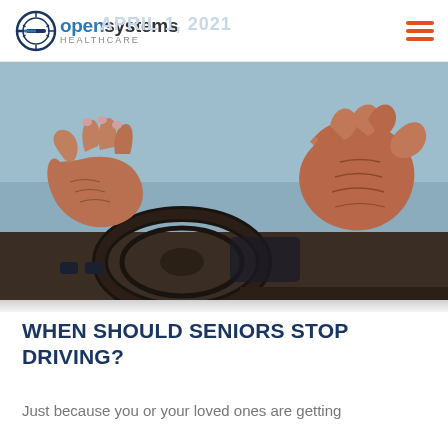Open Systems Healthcare — APRIL 1, 2021
[Figure (photo): Close-up of elderly person's hands gripping a car steering wheel]
WHEN SHOULD SENIORS STOP DRIVING?
Just because you or your loved ones are getting